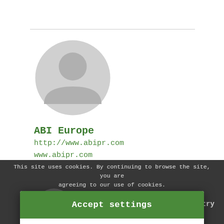[Figure (illustration): Gray circular user avatar placeholder icon]
ABI Europe
http://www.abipr.com
www.abipr.com
This site uses cookies. By continuing to browse the site, you are agreeing to our use of cookies.
Accept settings
Hide notification only
Cookie settings
Abido Co. for Trade and Industry
abido@abido.com